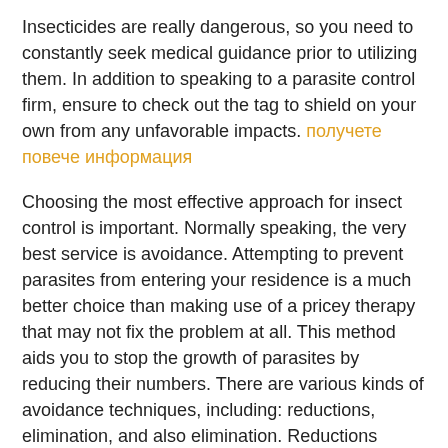Insecticides are really dangerous, so you need to constantly seek medical guidance prior to utilizing them. In addition to speaking to a parasite control firm, ensure to check out the tag to shield on your own from any unfavorable impacts. получете повече информация
Choosing the most effective approach for insect control is important. Normally speaking, the very best service is avoidance. Attempting to prevent parasites from entering your residence is a much better choice than making use of a pricey therapy that may not fix the problem at all. This method aids you to stop the growth of parasites by reducing their numbers. There are various kinds of avoidance techniques, including: reductions, elimination, and also elimination. Reductions methods minimize the populace, eradication methods destroy the entire pest population.